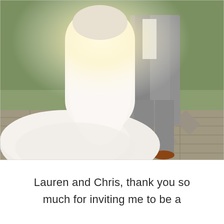[Figure (photo): Wedding photo showing the back of a bride in a white lace gown with a long cathedral train and a groom in a gray suit with brown shoes, standing together on a stone paver patio with grass in the background. Bright sunlight illuminates the scene.]
Lauren and Chris, thank you so much for inviting me to be a